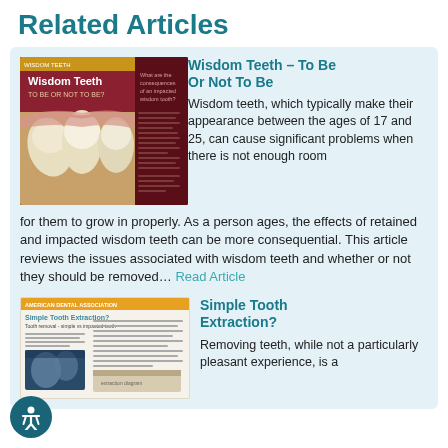Related Articles
[Figure (photo): Dental illustration showing wisdom teeth cross-section with text 'Wisdom Teeth TO BE OR NOT TO BE?' on dark red background]
Wisdom Teeth – To Be Or Not To Be
Wisdom teeth, which typically make their appearance between the ages of 17 and 25, can cause significant problems when there is not enough room for them to grow in properly. As a person ages, the effects of retained and impacted wisdom teeth can be more consequential. This article reviews the issues associated with wisdom teeth and whether or not they should be removed... Read Article
[Figure (photo): Thumbnail of article page titled 'Simple Tooth Extraction?' with dental x-ray image]
Simple Tooth Extraction?
Removing teeth, while not a particularly pleasant experience, is a